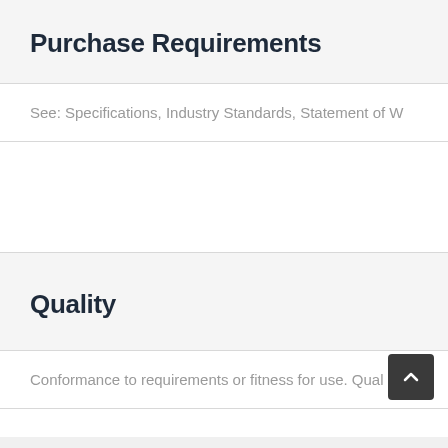Purchase Requirements
See: Specifications, Industry Standards, Statement of W
Quality
Conformance to requirements or fitness for use. Qual